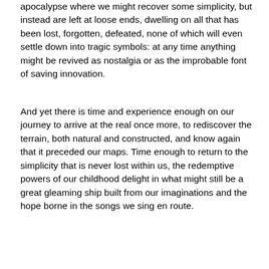apocalypse where we might recover some simplicity, but instead are left at loose ends, dwelling on all that has been lost, forgotten, defeated, none of which will even settle down into tragic symbols: at any time anything might be revived as nostalgia or as the improbable font of saving innovation.
And yet there is time and experience enough on our journey to arrive at the real once more, to rediscover the terrain, both natural and constructed, and know again that it preceded our maps. Time enough to return to the simplicity that is never lost within us, the redemptive powers of our childhood delight in what might still be a great gleaming ship built from our imaginations and the hope borne in the songs we sing en route.